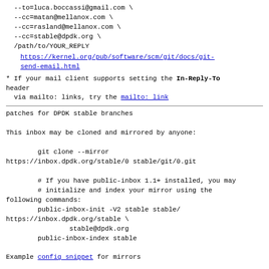--to=luca.boccassi@gmail.com \
  --cc=matan@mellanox.com \
  --cc=rasland@mellanox.com \
  --cc=stable@dpdk.org \
  /path/to/YOUR_REPLY
https://kernel.org/pub/software/scm/git/docs/git-send-email.html
* If your mail client supports setting the In-Reply-To header
  via mailto: links, try the mailto: link
patches for DPDK stable branches
This inbox may be cloned and mirrored by anyone:
git clone --mirror
https://inbox.dpdk.org/stable/0 stable/git/0.git
# If you have public-inbox 1.1+ installed, you may
        # initialize and index your mirror using the
following commands:
        public-inbox-init -V2 stable stable/
https://inbox.dpdk.org/stable \
                stable@dpdk.org
        public-inbox-index stable
Example config snippet for mirrors